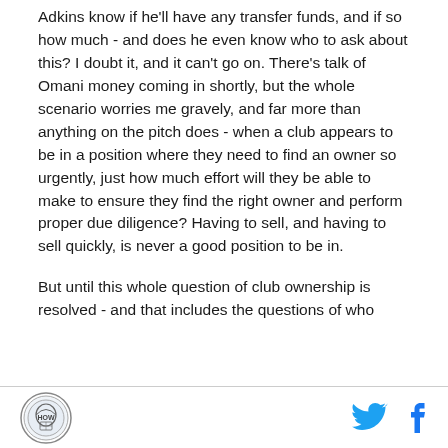Adkins know if he'll have any transfer funds, and if so how much - and does he even know who to ask about this? I doubt it, and it can't go on. There's talk of Omani money coming in shortly, but the whole scenario worries me gravely, and far more than anything on the pitch does - when a club appears to be in a position where they need to find an owner so urgently, just how much effort will they be able to make to ensure they find the right owner and perform proper due diligence? Having to sell, and having to sell quickly, is never a good position to be in.
But until this whole question of club ownership is resolved - and that includes the questions of who
[logo] [twitter] [facebook]